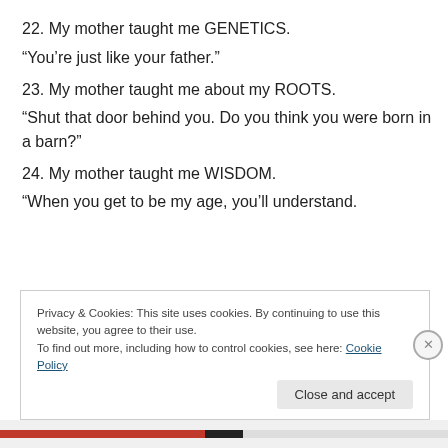22. My mother taught me GENETICS.
“You’re just like your father.”
23. My mother taught me about my ROOTS.
“Shut that door behind you. Do you think you were born in a barn?”
24. My mother taught me WISDOM.
“When you get to be my age, you’ll understand.
Privacy & Cookies: This site uses cookies. By continuing to use this website, you agree to their use.
To find out more, including how to control cookies, see here: Cookie Policy